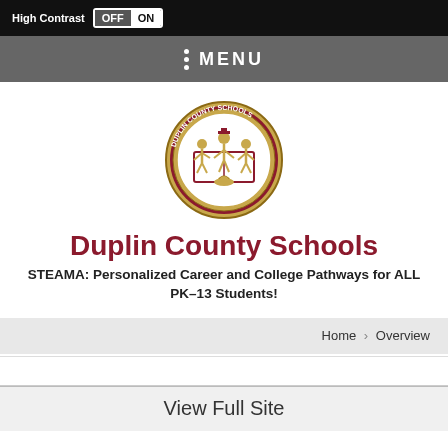High Contrast OFF ON
MENU
[Figure (logo): Duplin County Schools circular seal with gold and dark red colors, showing figures and a lamp, text reads 'DUPLIN COUNTY SCHOOLS' and 'A unified approach to academic excellence']
Duplin County Schools
STEAMA: Personalized Career and College Pathways for ALL PK–13 Students!
Home › Overview
View Full Site